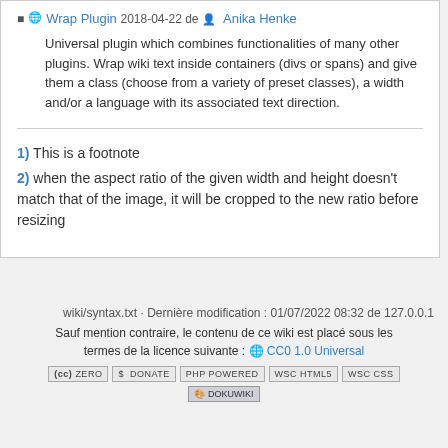Wrap Plugin 2018-04-22 de Anika Henke — Universal plugin which combines functionalities of many other plugins. Wrap wiki text inside containers (divs or spans) and give them a class (choose from a variety of preset classes), a width and/or a language with its associated text direction.
1) This is a footnote
2) when the aspect ratio of the given width and height doesn't match that of the image, it will be cropped to the new ratio before resizing
wiki/syntax.txt · Dernière modification : 01/07/2022 08:32 de 127.0.0.1
Sauf mention contraire, le contenu de ce wiki est placé sous les termes de la licence suivante : CC0 1.0 Universal